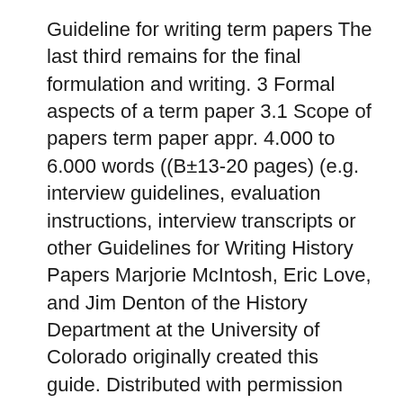Guideline for writing term papers The last third remains for the final formulation and writing. 3 Formal aspects of a term paper 3.1 Scope of papers term paper appr. 4.000 to 6.000 words ((В±13-20 pages) (e.g. interview guidelines, evaluation instructions, interview transcripts or other Guidelines for Writing History Papers Marjorie McIntosh, Eric Love, and Jim Denton of the History Department at the University of Colorado originally created this guide. Distributed with permission from these authors. short papers. 2. Your paper needs an introduction, a middle section, and a Bh¦